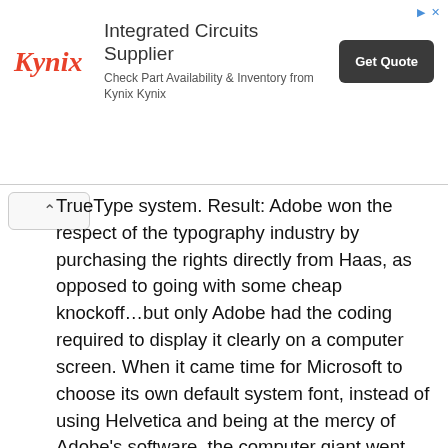[Figure (other): Kynix advertisement banner: Integrated Circuits Supplier. Check Part Availability & Inventory from Kynix Kynix. Get Quote button.]
TrueType system. Result: Adobe won the respect of the typography industry by purchasing the rights directly from Haas, as opposed to going with some cheap knockoff…but only Adobe had the coding required to display it clearly on a computer screen. When it came time for Microsoft to choose its own default system font, instead of using Helvetica and being at the mercy of Adobe's software, the computer giant went with a cheap knockoff, Arial, designed in 1982 by Robin Nicholas and Patricia Saunders from Monotype.
Century Gothic (1991)
Why is this typeface- based on Twentieth Century, a 1930s design by Sol Hess of Monotype- called Century